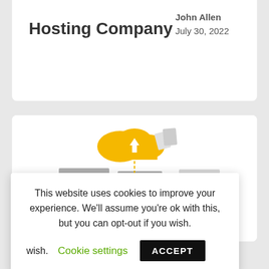Hosting Company
John Allen
July 30, 2022
[Figure (illustration): Illustration of cloud hosting: a yellow cloud with upload arrow in the center, server racks below, and a person holding a book sitting to the right]
This website uses cookies to improve your experience. We'll assume you're ok with this, but you can opt-out if you wish. Cookie settings ACCEPT